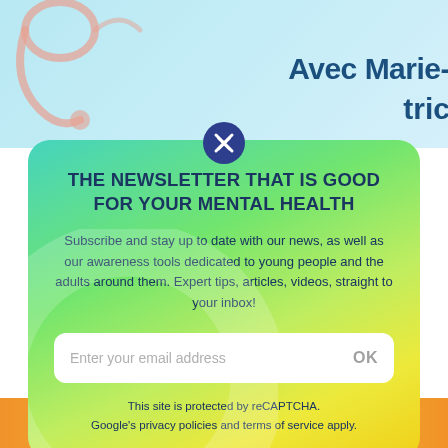[Figure (screenshot): Top banner with light blue background showing partial text 'Avec Marie-' and 'tric' on the right side, with decorative stethoscope illustration on the left]
[Figure (infographic): Newsletter signup modal card with gradient background (teal to yellow), containing title, description text, email input field with OK button, and reCAPTCHA notice]
THE NEWSLETTER THAT IS GOOD FOR YOUR MENTAL HEALTH
Subscribe and stay up to date with our news, as well as our awareness tools dedicated to young people and the adults around them. Expert tips, articles, videos, straight to your inbox!
Enter your email address
OK
This site is protected by reCAPTCHA. Google's privacy policies and terms of service apply.
[Figure (illustration): Bottom orange/yellow banner partially visible at bottom of page]